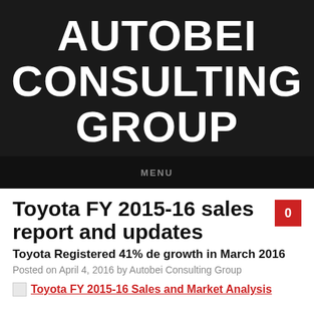AUTOBEI CONSULTING GROUP
MENU
Toyota FY 2015-16 sales report and updates
Toyota Registered 41% de growth in March 2016
Posted on April 4, 2016 by Autobei Consulting Group
Toyota FY 2015-16 Sales and Market Analysis